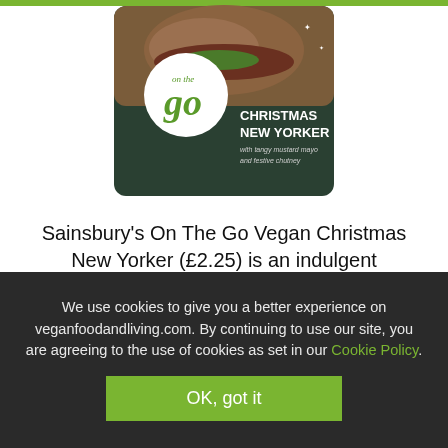[Figure (photo): Sainsbury's On The Go Christmas New Yorker sandwich product packaging on dark green background. Features a circular logo with 'on the go' text and 'CHRISTMAS NEW YORKER with tangy mustard mayo and festive chutney' text.]
Sainsbury's On The Go Vegan Christmas New Yorker (£2.25) is an indulgent sandwich made from coconut cheese, gherkins and red cabbage, all topped with a generous helping of mouth-watering festive chutney.
We use cookies to give you a better experience on veganfoodandliving.com. By continuing to use our site, you are agreeing to the use of cookies as set in our Cookie Policy.